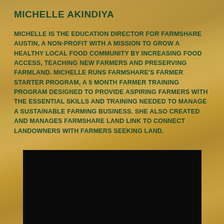MICHELLE AKINDIYA
MICHELLE IS THE EDUCATION DIRECTOR FOR FARMSHARE AUSTIN, A NON-PROFIT WITH A MISSION TO GROW A HEALTHY LOCAL FOOD COMMUNITY BY INCREASING FOOD ACCESS, TEACHING NEW FARMERS AND PRESERVING FARMLAND. MICHELLE RUNS FARMSHARE'S FARMER STARTER PROGRAM, A 5 MONTH FARMER TRAINING PROGRAM DESIGNED TO PROVIDE ASPIRING FARMERS WITH THE ESSENTIAL SKILLS AND TRAINING NEEDED TO MANAGE A SUSTAINABLE FARMING BUSINESS. SHE ALSO CREATED AND MANAGES FARMSHARE LAND LINK TO CONNECT LANDOWNERS WITH FARMERS SEEKING LAND.
[Figure (photo): Dark/black background photo panel at the bottom of the page, partially visible, appears to be a night or dark outdoor scene.]